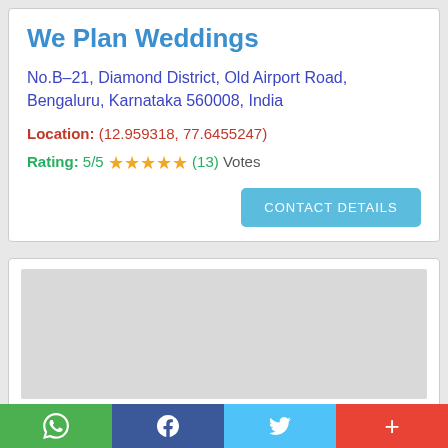We Plan Weddings
No.B–21, Diamond District, Old Airport Road, Bengaluru, Karnataka 560008, India
Location: (12.959318, 77.6455247)
Rating: 5/5 ★★★★★ (13) Votes
CONTACT DETAILS
[Figure (map): Embedded Google Map showing location near Diamond District, Old Airport Road, Bengaluru]
WhatsApp | Facebook | Twitter | +